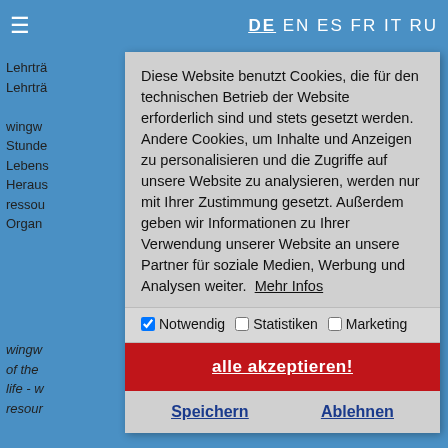DE EN ES FR IT RU
Lehrtr
Lehrtr

wingw
Stunde
Lebens
Heraus
ressou
Organ
Diese Website benutzt Cookies, die für den technischen Betrieb der Website erforderlich sind und stets gesetzt werden. Andere Cookies, um Inhalte und Anzeigen zu personalisieren und die Zugriffe auf unsere Website zu analysieren, werden nur mit Ihrer Zustimmung gesetzt. Außerdem geben wir Informationen zu Ihrer Verwendung unserer Website an unsere Partner für soziale Medien, Werbung und Analysen weiter. Mehr Infos
Notwendig | Statistiken | Marketing
alle akzeptieren!
Speichern
Ablehnen
wingw
of the
life - w
resour